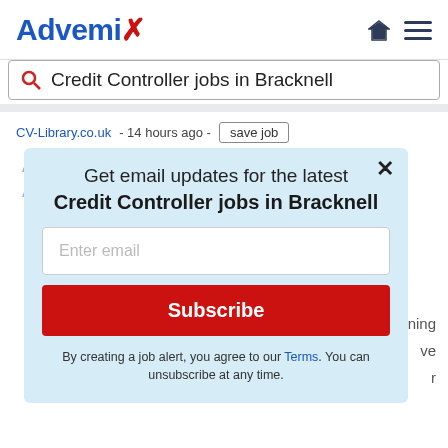[Figure (logo): Advemix logo in blue and red]
Credit Controller jobs in Bracknell
CV-Library.co.uk - 14 hours ago - save job
Advemix uses first-party and third-party
Air conditioning installation engineer new
Get email updates for the latest Credit Controller jobs in Bracknell
Enter email
Subscribe
By creating a job alert, you agree to our Terms. You can unsubscribe at any time.